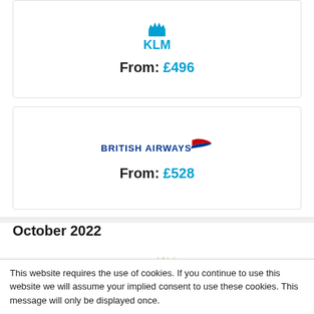[Figure (logo): KLM airline logo with crown and text KLM in blue]
From: £496
[Figure (logo): British Airways logo with speedbird and text BRITISH AIRWAYS]
From: £528
October 2022
[Figure (logo): Gulf Air logo with falcon and text GULF AIR in gold]
From: £409
This website requires the use of cookies. If you continue to use this website we will assume your implied consent to use these cookies. This message will only be displayed once.